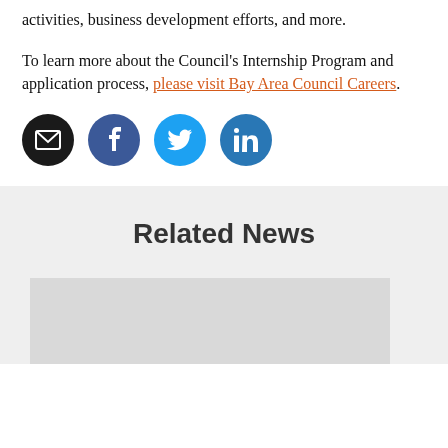activities, business development efforts, and more.
To learn more about the Council's Internship Program and application process, please visit Bay Area Council Careers.
[Figure (infographic): Four social media icon circles: email (black), Facebook (dark blue), Twitter (light blue), LinkedIn (blue)]
Related News
[Figure (photo): Gray placeholder image for a related news article]